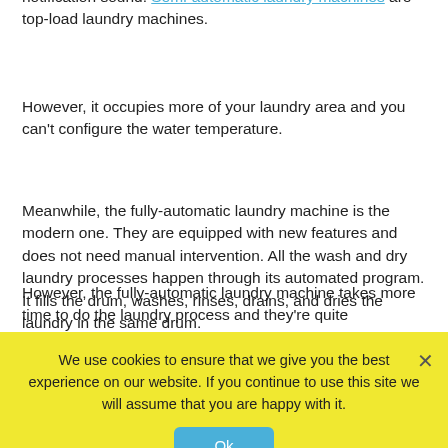notification sound. Semi-automatic laundry machines are top-load laundry machines.
However, it occupies more of your laundry area and you can't configure the water temperature.
Meanwhile, the fully-automatic laundry machine is the modern one. They are equipped with new features and does not need manual intervention. All the wash and dry laundry processes happen through its automated program. It fills the drum, washes, rinses, drains, and dries the laundry in the same drum.
However, the fully-automatic laundry machine takes more time to do the laundry process and they're quite expensive. Thus, if you are on a tight budget, the semi-automatic machine...
We use cookies to ensure that we give you the best experience on our website. If you continue to use this site we will assume that you are happy with it.